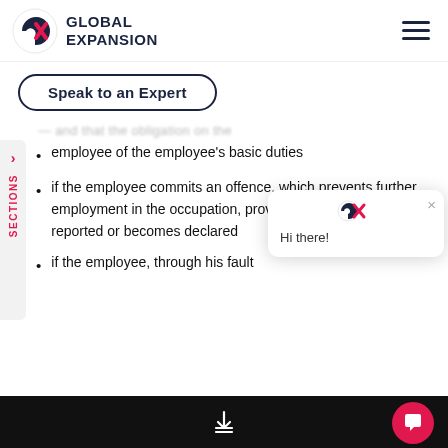GLOBAL EXPANSION
Speak to an Expert
employee of the employee's basic duties
if the employee commits an offence, which prevents further employment in the occupation, provided that the offence is reported or becomes declared
if the employee, through his fault
Hi there!